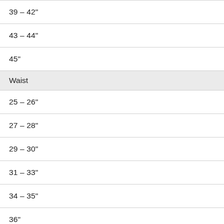| 39 – 42" |
| 43 – 44" |
| 45" |
| Waist |
| 25 – 26" |
| 27 – 28" |
| 29 – 30" |
| 31 – 33" |
| 34 – 35" |
| 36" |
| Hip |
| 35 – 37" |
| 37 – 39" |